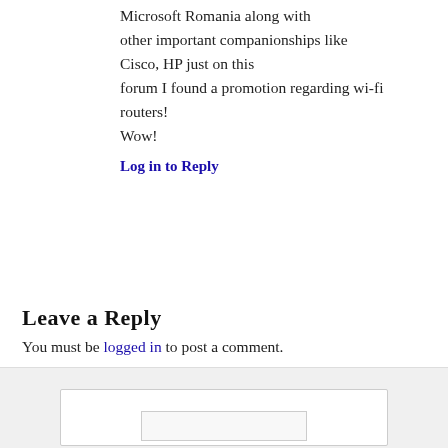Microsoft Romania along with other important companionships like Cisco, HP just on this forum I found a promotion regarding wi-fi routers!
Wow!
Log in to Reply
Leave a Reply
You must be logged in to post a comment.
Social Login